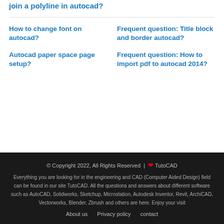join a polyline in autocad?
How to change font on autocad?
Frequent question: Title block and border autocad?
Autocad paper space page setup?
Frequent question: How to import pdf to autocad 2014?
© Copyright 2022, All Rights Reserved | ❤ TutoCAD
Everything you are looking for in the engineering and CAD (Computer Aided Design) field can be found in our site TutoCAD. All the questions and answers about different software such as AutoCAD, Solidworks, Sketchup, Microstation, Autodesk Inventor, Revit, ArchiCAD, Vectorworks, Blender, Zbrush and others are here. Enjoy your visit
About us   Privacy policy   contact